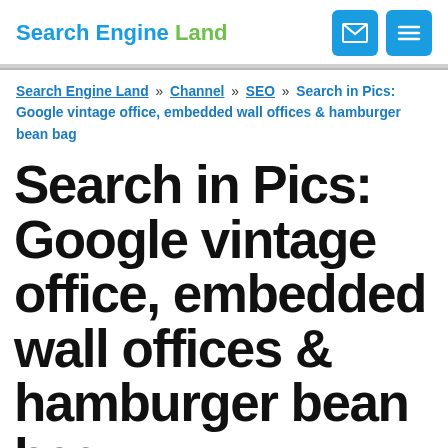Search Engine Land
Search Engine Land » Channel » SEO » Search in Pics: Google vintage office, embedded wall offices & hamburger bean bag
Search in Pics: Google vintage office, embedded wall offices & hamburger bean bag
In this week's Search In Pictures, here are the latest images culled from the major search…